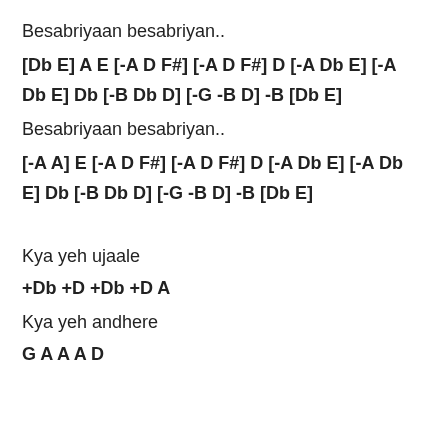Besabriyaan besabriyan..
[Db E] A E [-A D F#] [-A D F#] D [-A Db E] [-A Db E] Db [-B Db D] [-G -B D] -B [Db E]
Besabriyaan besabriyan..
[-A A] E [-A D F#] [-A D F#] D [-A Db E] [-A Db E] Db [-B Db D] [-G -B D] -B [Db E]
Kya yeh ujaale
+Db +D +Db +D A
Kya yeh andhere
G A A A D